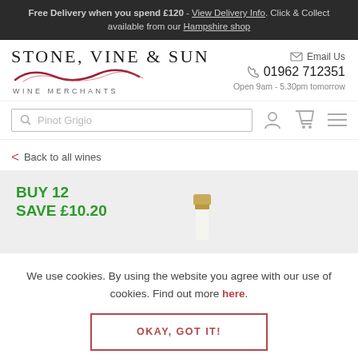Free Delivery when you spend £120 - View Delivery Info. Click & Collect available from our Hampshire shop
[Figure (logo): Stone, Vine & Sun Wine Merchants logo with red wave illustration]
Email Us
01962 712351
Open 9am - 5.30pm tomorrow
[Figure (screenshot): Search bar with Pinot Grigio placeholder text, user icon, cart icon, and menu icon]
Back to all wines
BUY 12
SAVE £10.20
We use cookies. By using the website you agree with our use of cookies. Find out more here.
OKAY, GOT IT!